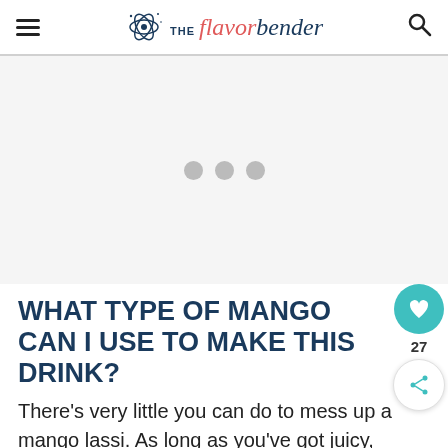THE flavor bender
[Figure (other): Advertisement placeholder area with three grey loading dots centered on light grey background]
WHAT TYPE OF MANGO CAN I USE TO MAKE THIS DRINK?
There’s very little you can do to mess up a mango lassi. As long as you’ve got juicy,